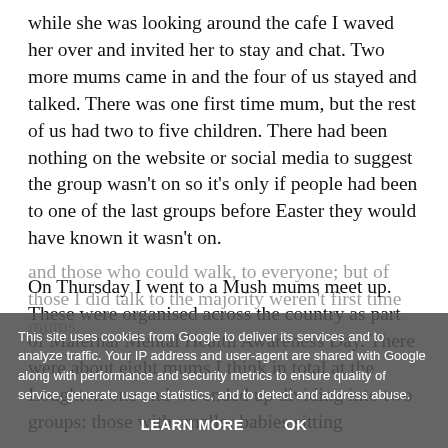while she was looking around the cafe I waved her over and invited her to stay and chat. Two more mums came in and the four of us stayed and talked. There was one first time mum, but the rest of us had two to five children. There had been nothing on the website or social media to suggest the group wasn't on so it's only if people had been to one of the last groups before Easter they would have known it wasn't on.
On Thursday I went to a Mush mums meet up. These were organised across the country as part of Maternal Mental Health Awareness Day. There were about eight mums I think in total at the Loughton one and we ended up dividing into two groups: those with smaller babies sitting and those who could walk, to everyone; but of those I did talk to the majority weren't first time mums.
This site uses cookies from Google to deliver its services and to analyze traffic. Your IP address and user-agent are shared with Google along with performance and security metrics to ensure quality of service, generate usage statistics, and to detect and address abuse.
LEARN MORE    OK